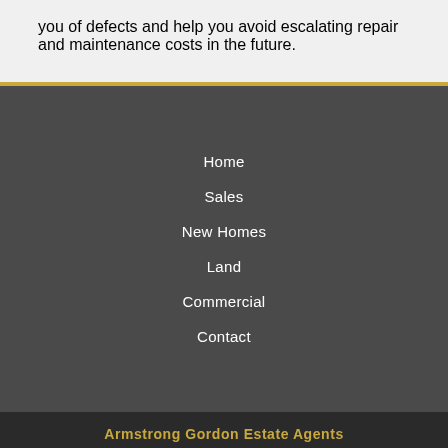you of defects and help you avoid escalating repair and maintenance costs in the future.
Home
Sales
New Homes
Land
Commercial
Contact
Armstrong Gordon Estate Agents